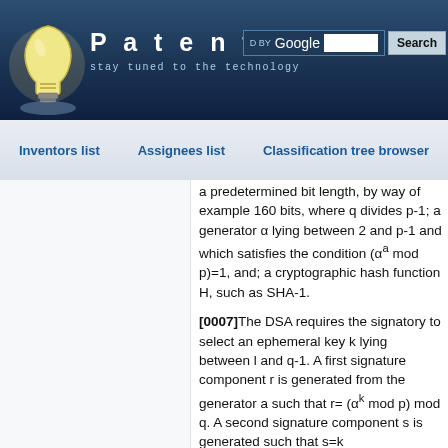Patentdocs — stay tuned to the technology
Inventors list | Assignees list | Classification tree browser
a predetermined bit length, by way of example 160 bits, where q divides p-1; a generator α lying between 2 and p-1 and which satisfies the condition (αa mod p)=1, and; a cryptographic hash function H, such as SHA-1.
[0007]The DSA requires the signatory to select an ephemeral key k lying between l and q-1. A first signature component r is generated from the generator a such that r=(αk mod p) mod q. A second signature component s is generated such that s=k